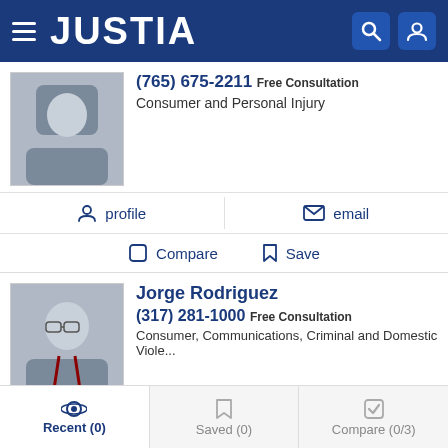JUSTIA
(765) 675-2211 Free Consultation
Consumer and Personal Injury
profile   email
Compare   Save
Jorge Rodriguez
(317) 281-1000 Free Consultation
Consumer, Communications, Criminal and Domestic Viole...
profile   email
Compare   Save
Recent (0)   Saved (0)   Compare (0/3)